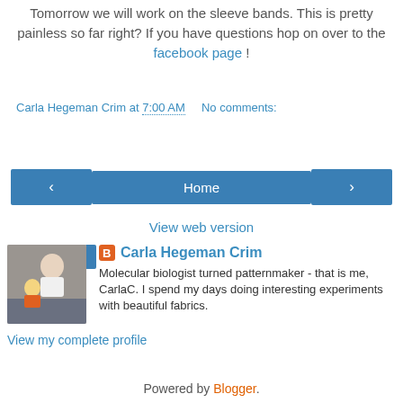Tomorrow we will work on the sleeve bands. This is pretty painless so far right? If you have questions hop on over to the facebook page !
Carla Hegeman Crim at 7:00 AM    No comments:
Share
‹   Home   ›
View web version
[Figure (photo): Profile photo of Carla Hegeman Crim with a child]
Carla Hegeman Crim
Molecular biologist turned patternmaker - that is me, CarlaC. I spend my days doing interesting experiments with beautiful fabrics.
View my complete profile
Powered by Blogger.